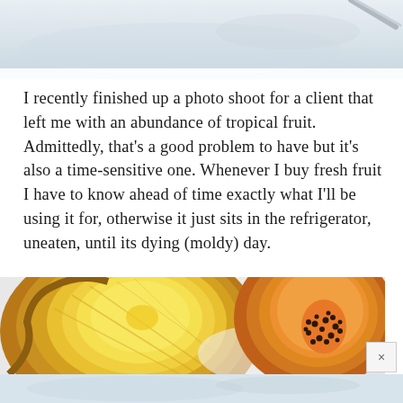[Figure (photo): Partial view of food photography props on a light background, with a metal utensil visible at the top right]
I recently finished up a photo shoot for a client that left me with an abundance of tropical fruit. Admittedly, that's a good problem to have but it's also a time-sensitive one. Whenever I buy fresh fruit I have to know ahead of time exactly what I'll be using it for, otherwise it just sits in the refrigerator, uneaten, until its dying (moldy) day.
[Figure (photo): Close-up of a halved pineapple on the left showing yellow flesh and a halved papaya on the right showing orange flesh with black seeds, on a white background]
[Figure (photo): Bottom portion of a food photography scene on a light background]